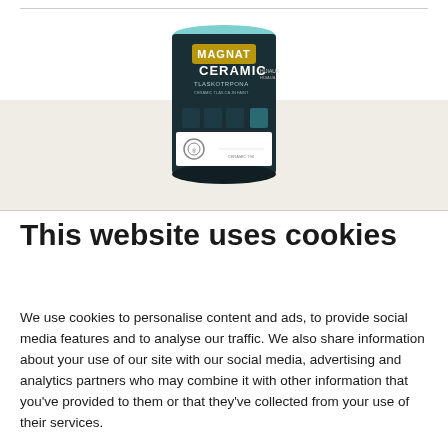[Figure (photo): A paint can of Magnat Ceramic Tlaskotrpona product with a teal/dark green label featuring the Magnat brand name and product details, with a white label section at the bottom showing a color swatch. The can is displayed against a white background at the top and sits on a beige/off-white band.]
This website uses cookies
We use cookies to personalise content and ads, to provide social media features and to analyse our traffic. We also share information about your use of our site with our social media, advertising and analytics partners who may combine it with other information that you’ve provided to them or that they’ve collected from your use of their services.